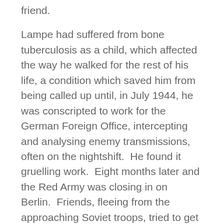friend.
Lampe had suffered from bone tuberculosis as a child, which affected the way he walked for the rest of his life, a condition which saved him from being called up until, in July 1944, he was conscripted to work for the German Foreign Office, intercepting and analysing enemy transmissions, often on the nightshift.  He found it gruelling work.  Eight months later and the Red Army was closing in on Berlin.  Friends, fleeing from the approaching Soviet troops, tried to get Lampe to come with them, but he declined.  Then, on 2 May 1945, the day Berlin capitulated, he was stopped by two Red Army soldiers.  Eyewitnesses relate how Lampe was unable to make himself intelligible to the men, who ordered him onto a patch of grass and shot him.  It is still not clear why.  One suggestion is that the Soviets had been told to be on their guard for members of the SS trying to escape and, due to the privation of war, Lampe no longer resembled